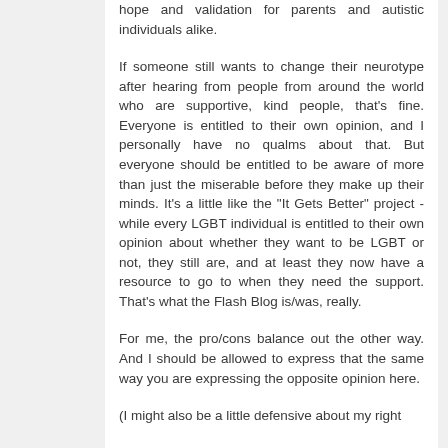hope and validation for parents and autistic individuals alike.
If someone still wants to change their neurotype after hearing from people from around the world who are supportive, kind people, that's fine. Everyone is entitled to their own opinion, and I personally have no qualms about that. But everyone should be entitled to be aware of more than just the miserable before they make up their minds. It's a little like the "It Gets Better" project - while every LGBT individual is entitled to their own opinion about whether they want to be LGBT or not, they still are, and at least they now have a resource to go to when they need the support. That's what the Flash Blog is/was, really.
For me, the pro/cons balance out the other way. And I should be allowed to express that the same way you are expressing the opposite opinion here.
(I might also be a little defensive about my right